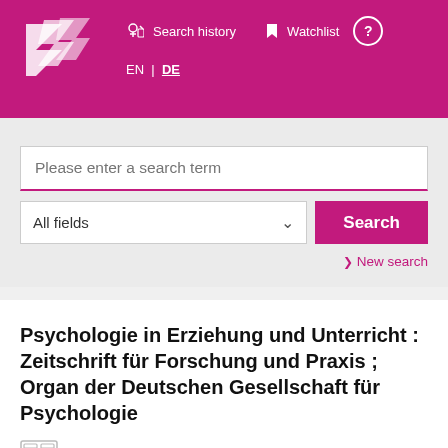[Figure (logo): ZDB logo - white geometric shapes forming letters ZDB on magenta background]
Search history
Watchlist
EN | DE
Please enter a search term
All fields
Search
> New search
Psychologie in Erziehung und Unterricht : Zeitschrift für Forschung und Praxis ; Organ der Deutschen Gesellschaft für Psychologie
München : Reinhardt 20.1973 -